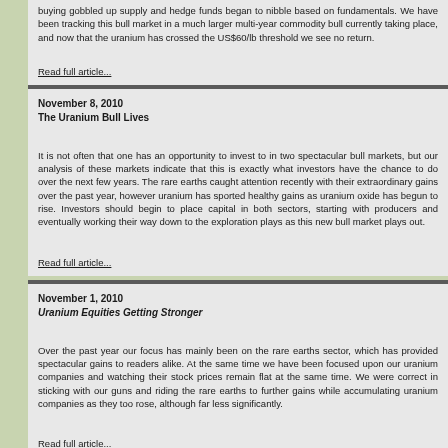buying gobbled up supply and hedge funds began to nibble based on fundamentals. We have been tracking this bull market in a much larger multi-year commodity bull currently taking place, and now that the uranium has crossed the US$60/lb threshold we see no return.
Read full article...
November 8, 2010
The Uranium Bull Lives
It is not often that one has an opportunity to invest to in two spectacular bull markets, but our analysis of these markets indicate that this is exactly what investors have the chance to do over the next few years. The rare earths caught attention recently with their extraordinary gains over the past year, however uranium has sported healthy gains as uranium oxide has begun to rise. Investors should begin to place capital in both sectors, starting with producers and eventually working their way down to the exploration plays as this new bull market plays out.
Read full article...
November 1, 2010
Uranium Equities Getting Stronger
Over the past year our focus has mainly been on the rare earths sector, which has provided spectacular gains to readers alike. At the same time we have been focused upon our uranium companies and watching their stock prices remain flat at the same time. We were correct in sticking with our guns and riding the rare earths to further gains while accumulating uranium companies as they too rose, although far less significantly.
Read full article...
October 20, 2010
Interview with Robert Mackay, CEO of Stans Energy Corp.
Theinvestar.com: Mr. Mackay, can you tell us about Stans Energy and